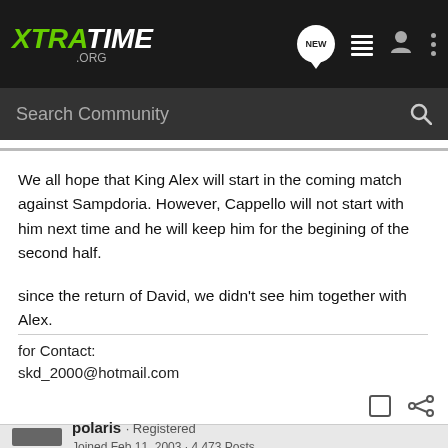XTRATIME .ORG
Search Community
We all hope that King Alex will start in the coming match against Sampdoria. However, Cappello will not start with him next time and he will keep him for the begining of the second half.

since the return of David, we didn't see him together with Alex.
for Contact:
skd_2000@hotmail.com
polaris · Registered
Joined Feb 11, 2003 · 4,473 Posts